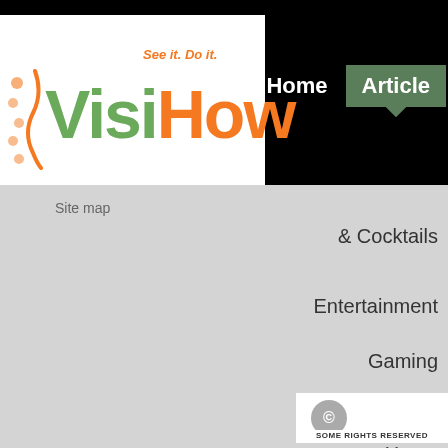[Figure (logo): VisiHow logo with tagline 'See it. Do it.' Green Visi, orange How text]
Home
Articles
Site map
& Cocktails
Entertainment
Gaming
Health & Well
Home
[Figure (photo): Video thumbnail showing cake designed as hamburger and waffle cake, with play button. Twisted logo visible. Title: Crazy Cake Recipes]
[Figure (logo): Creative Commons 'Some Rights Reserved' badge]